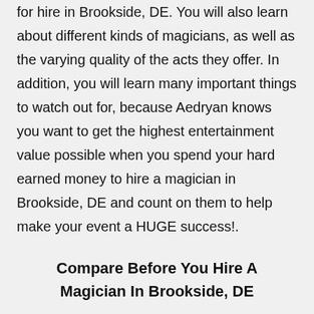for hire in Brookside, DE. You will also learn about different kinds of magicians, as well as the varying quality of the acts they offer. In addition, you will learn many important things to watch out for, because Aedryan knows you want to get the highest entertainment value possible when you spend your hard earned money to hire a magician in Brookside, DE and count on them to help make your event a HUGE success!.
Compare Before You Hire A Magician In Brookside, DE